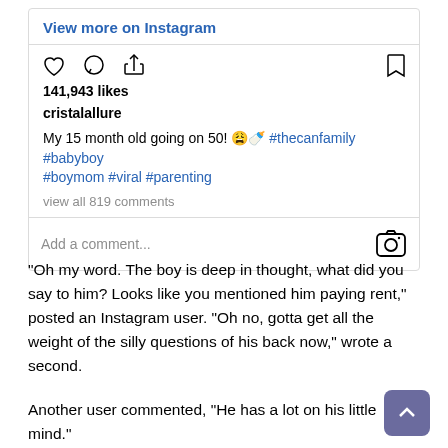[Figure (screenshot): Instagram post UI showing 'View more on Instagram' link, action icons (like, comment, share, bookmark), 141,943 likes, username cristalallure, caption 'My 15 month old going on 50! 😩🍼 #thecanfamily #babyboy #boymom #viral #parenting', view all 819 comments, and add a comment field with Instagram logo.]
“Oh my word. The boy is deep in thought, what did you say to him? Looks like you mentioned him paying rent,” posted an Instagram user. “Oh no, gotta get all the weight of the silly questions of his back now,” wrote a second.
Another user commented, “He has a lot on his little mind.”